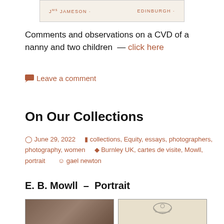[Figure (photo): Partial image of a carte de visite card showing 'Jᴹˢ JAMESON' on the left and 'EDINBURGH' on the right, on a cream/beige background]
Comments and observations on a CVD of a nanny and two children — click here
💬 Leave a comment
On Our Collections
🕐 June 29, 2022   📁 collections, Equity, essays, photographers, photography, women   🏷 Burnley UK, cartes de visite, Mowll, portrait   👤 gael newton
E. B. Mowll  –  Portrait
[Figure (photo): Two partial images at the bottom: left shows a dark photographic portrait (carte de visite), right shows a decorative crest or coat of arms on cream background]